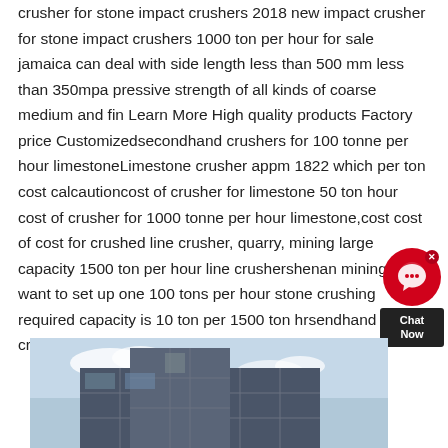crusher for stone impact crushers 2018 new impact crusher for stone impact crushers 1000 ton per hour for sale jamaica can deal with side length less than 500 mm less than 350mpa pressive strength of all kinds of coarse medium and fin Learn More High quality products Factory price Customizedsecondhand crushers for 100 tonne per hour limestoneLimestone crusher appm 1822 which per ton cost calcautioncost of crusher for limestone 50 ton hour cost of crusher for 1000 tonne per hour limestone,cost cost of cost for crushed line crusher, quarry, mining large capacity 1500 ton per hour line crushershenan mining i want to set up one 100 tons per hour stone crushing required capacity is 10 ton per 1500 ton hrsendhand crusher for 1000 tonne per hour limestone
[Figure (photo): Partial view of a modern building with a glass/metal grid facade against a cloudy sky]